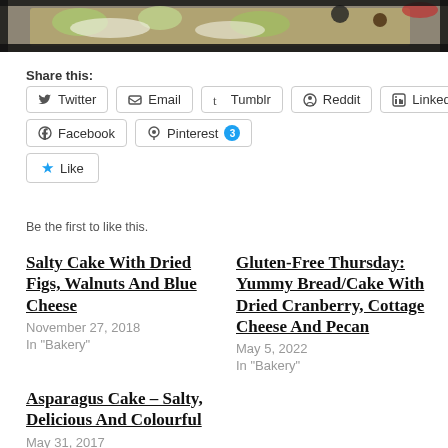[Figure (photo): Partial food photo at top showing a slice of bread/cake with toppings on a white surface]
Share this:
Twitter | Email | Tumblr | Reddit | LinkedIn | Facebook | Pinterest 3 | Like | Be the first to like this.
Salty Cake With Dried Figs, Walnuts And Blue Cheese
November 27, 2018
In "Bakery"
Gluten-Free Thursday: Yummy Bread/Cake With Dried Cranberry, Cottage Cheese And Pecan
May 5, 2022
In "Bakery"
Asparagus Cake – Salty, Delicious And Colourful
May 31, 2017